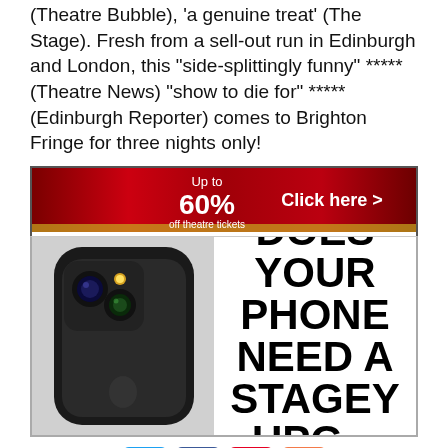(Theatre Bubble), 'a genuine treat' (The Stage). Fresh from a sell-out run in Edinburgh and London, this "side-splittingly funny" ***** (Theatre News) "show to die for" ***** (Edinburgh Reporter) comes to Brighton Fringe for three nights only!
[Figure (infographic): Red theatre curtain banner ad: 'Up to 60% off theatre tickets. Click here >']
[Figure (infographic): Phone upgrade advertisement showing a black iPhone and bold text: DOES YOUR PHONE NEED A STAGEY UPGRADE?]
[Figure (infographic): Social share buttons: Twitter (blue bird), Facebook (blue f), Pinterest (red P), Plus (orange +)]